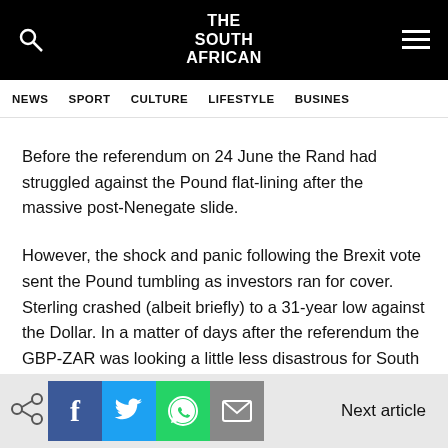THE SOUTH AFRICAN
NEWS   SPORT   CULTURE   LIFESTYLE   BUSINESS
Before the referendum on 24 June the Rand had struggled against the Pound flat-lining after the massive post-Nenegate slide.
However, the shock and panic following the Brexit vote sent the Pound tumbling as investors ran for cover. Sterling crashed (albeit briefly) to a 31-year low against the Dollar. In a matter of days after the referendum the GBP-ZAR was looking a little less disastrous for South Africans.
Next article